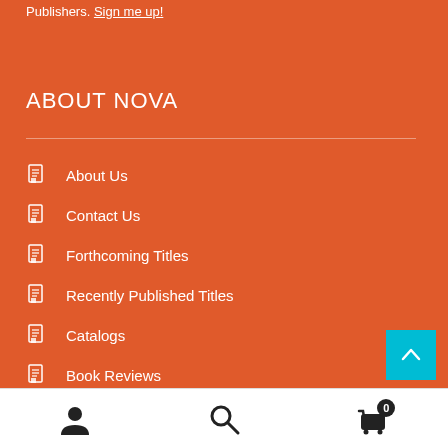Publishers. Sign me up!
ABOUT NOVA
About Us
Contact Us
Forthcoming Titles
Recently Published Titles
Catalogs
Book Reviews